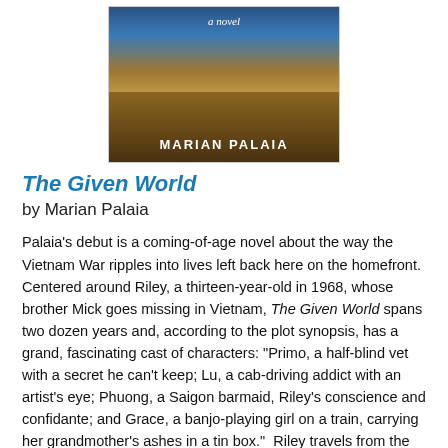[Figure (photo): Book cover of 'The Given World' by Marian Palaia showing a dramatic sky over a flat plain landscape with the author's name in white text]
The Given World
by Marian Palaia
Palaia's debut is a coming-of-age novel about the way the Vietnam War ripples into lives left back here on the homefront.  Centered around Riley, a thirteen-year-old in 1968, whose brother Mick goes missing in Vietnam, The Given World spans two dozen years and, according to the plot synopsis, has a grand, fascinating cast of characters: "Primo, a half-blind vet with a secret he can't keep; Lu, a cab-driving addict with an artist's eye; Phuong, a Saigon barmaid, Riley's conscience and confidante; and Grace, a banjo-playing girl on a train, carrying her grandmother's ashes in a tin box."  Riley travels from the Montana plains in the 70s to San Francisco in the 80s and onward to the expat